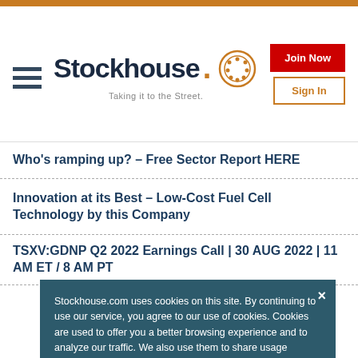[Figure (logo): Stockhouse logo with hamburger menu and auth buttons]
Who's ramping up? – Free Sector Report HERE
Innovation at its Best – Low-Cost Fuel Cell Technology by this Company
TSXV:GDNP Q2 2022 Earnings Call | 30 AUG 2022 | 11 AM ET / 8 AM PT
Stockhouse.com uses cookies on this site. By continuing to use our service, you agree to our use of cookies. Cookies are used to offer you a better browsing experience and to analyze our traffic. We also use them to share usage information with our partners. See full details.